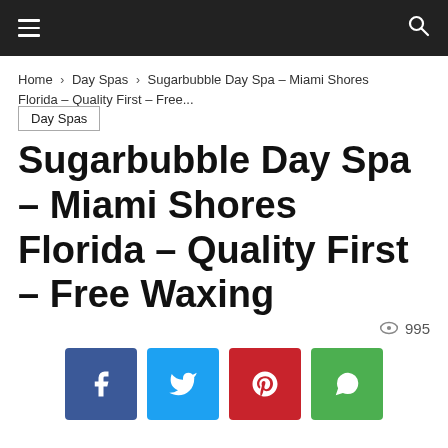Navigation bar with hamburger menu and search icon
Home › Day Spas › Sugarbubble Day Spa – Miami Shores Florida – Quality First – Free...
Day Spas
Sugarbubble Day Spa – Miami Shores Florida – Quality First – Free Waxing
995 views
[Figure (other): Social sharing buttons: Facebook, Twitter, Pinterest, WhatsApp]